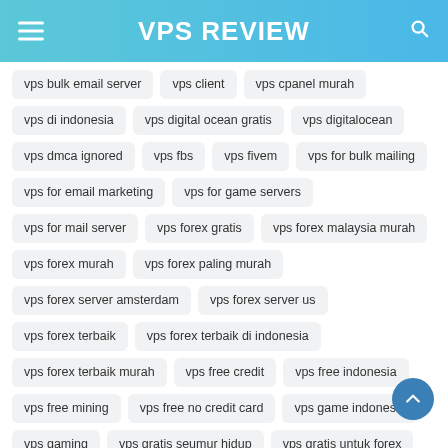VPS REVIEW
vps bulk email server
vps client
vps cpanel murah
vps di indonesia
vps digital ocean gratis
vps digitalocean
vps dmca ignored
vps fbs
vps fivem
vps for bulk mailing
vps for email marketing
vps for game servers
vps for mail server
vps forex gratis
vps forex malaysia murah
vps forex murah
vps forex paling murah
vps forex server amsterdam
vps forex server us
vps forex terbaik
vps forex terbaik di indonesia
vps forex terbaik murah
vps free credit
vps free indonesia
vps free mining
vps free no credit card
vps game indonesia
vps gaming
vps gratis seumur hidup
vps gratis untuk forex